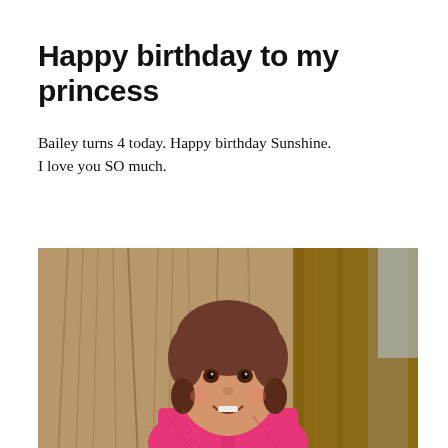Happy birthday to my princess
Bailey turns 4 today. Happy birthday Sunshine. I love you SO much.
[Figure (photo): A smiling young girl (Bailey) with brown hair in pigtails, wearing a pink jacket, standing outdoors in front of dried corn stalks and a wooden fence. The photo is taken at what appears to be a fall/harvest setting.]